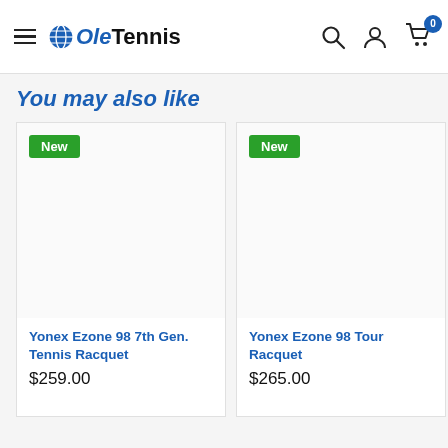Ole Tennis
You may also like
[Figure (photo): Product card: Yonex Ezone 98 7th Gen. Tennis Racquet, price $259.00, labeled New]
Yonex Ezone 98 7th Gen. Tennis Racquet
$259.00
[Figure (photo): Product card: Yonex Ezone 98 Tour Tennis Racquet, price $265.00, labeled New]
Yonex Ezone 98 Tour Racquet
$265.00